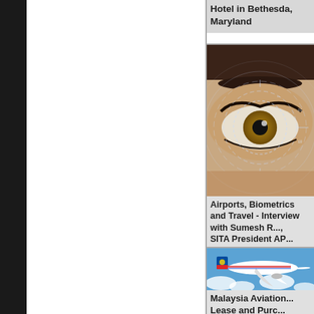Hotel in Bethesda, Maryland
[Figure (photo): Close-up of a human eye with digital scanning/biometric overlay circles and graphics in blue/white tones]
Airports, Biometrics and Travel - Interview with Sumesh R..., SITA President AP...
[Figure (photo): Malaysia Airlines aircraft in blue sky with clouds]
Malaysia Aviation... Lease and Purc...